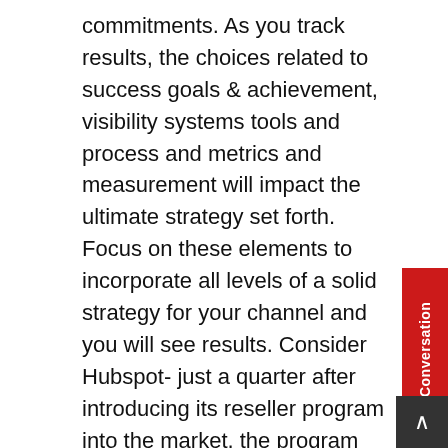commitments. As you track results, the choices related to success goals & achievement, visibility systems tools and process and metrics and measurement will impact the ultimate strategy set forth. Focus on these elements to incorporate all levels of a solid strategy for your channel and you will see results. Consider Hubspot- just a quarter after introducing its reseller program into the market, the program was driving 42% of new customers and 22% of revenue.

The path to success here is a path we need to take small steps on. Start with the goal of formation. This means to focus on the needs identification, partner selection, investigation, negotiation and plan implementation. Build the path you need before you try to walk down a dirt road and end up lost in the woods of channel strategy. Outside of formation are